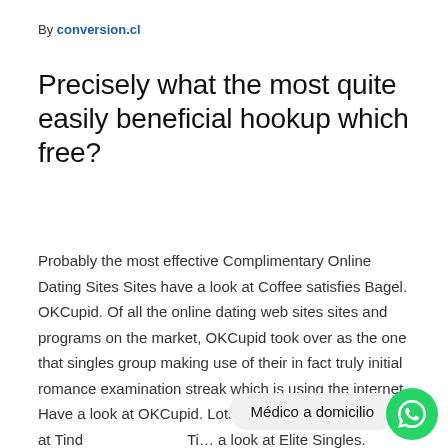By conversion.cl
Precisely what the most quite easily beneficial hookup which free?
Probably the most effective Complimentary Online Dating Sites Sites have a look at Coffee satisfies Bagel. OKCupid. Of all the online dating web sites sites and programs on the market, OKCupid took over as the one that singles group making use of their in fact truly initial romance examination streak which is using the internet. Have a look at OKCupid. Lots Of Seafood. Have a look at Tind… Ti… a look at Elite Singles. FriendFinder-X.
[Figure (other): WhatsApp chat bubble overlay showing 'Médico a domicilio' with WhatsApp green circle icon]